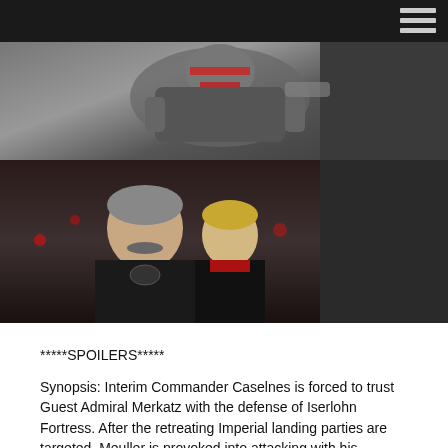[Figure (photo): Anime screenshot showing a robotic/mecha figure in gray and red armor against a dark background]
[Figure (photo): Anime screenshot showing two male characters in black military uniforms — an older man with a mustache in the foreground and a younger blonde man behind him, against a dark red-lit background]
*****SPOILERS*****
Synopsis: Interim Commander Caselnes is forced to trust Guest Admiral Merkatz with the defense of Iserlohn Fortress. After the retreating Imperial landing parties are targeted, Meuller is provoked into attacking with his